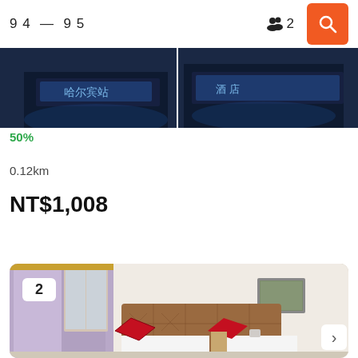9 4 — 9 5   👥 2
[Figure (photo): Hotel exterior night photo showing illuminated signage with Chinese characters, dark blue tones]
50%
0.12km
NT$1,008
[Figure (photo): Hotel room interior showing two single beds with red accent pillows, brown padded headboard, white walls, curtains on left, framed picture on wall, nightstand between beds]
2